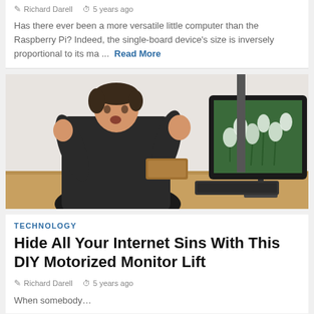Richard Darell   5 years ago
Has there ever been a more versatile little computer than the Raspberry Pi? Indeed, the single-board device's size is inversely proportional to its ma ...  Read More
[Figure (photo): A young man in a dark sweater gesturing with both hands raised toward a large computer monitor on a desk. The monitor displays a wallpaper of white snowdrop flowers. A keyboard and wooden items are visible on the desk.]
TECHNOLOGY
Hide All Your Internet Sins With This DIY Motorized Monitor Lift
Richard Darell   5 years ago
When somebody…